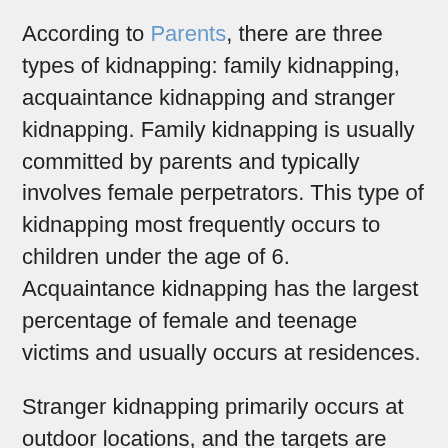According to Parents, there are three types of kidnapping: family kidnapping, acquaintance kidnapping and stranger kidnapping. Family kidnapping is usually committed by parents and typically involves female perpetrators. This type of kidnapping most frequently occurs to children under the age of 6. Acquaintance kidnapping has the largest percentage of female and teenage victims and usually occurs at residences.
Stranger kidnapping primarily occurs at outdoor locations, and the targets are usually school-aged girls or female teenagers. However, young boys can still be at risk in any of these scenarios. According to Parents, the first contact between a child and the abductor occurs within a quarter-mile of the kid's home in 80% of stranger kidnappings.
On May 11, 2022, a pair of men attempted to kidnap a 2-year-old girl in The Mount, Ringwood, Hampshire, during the